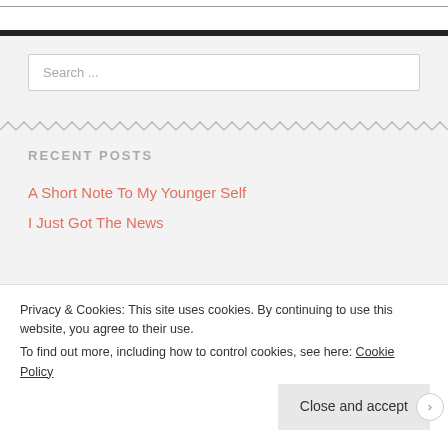Search ...
RECENT POSTS
A Short Note To My Younger Self
I Just Got The News
Privacy & Cookies: This site uses cookies. By continuing to use this website, you agree to their use.
To find out more, including how to control cookies, see here: Cookie Policy
Close and accept